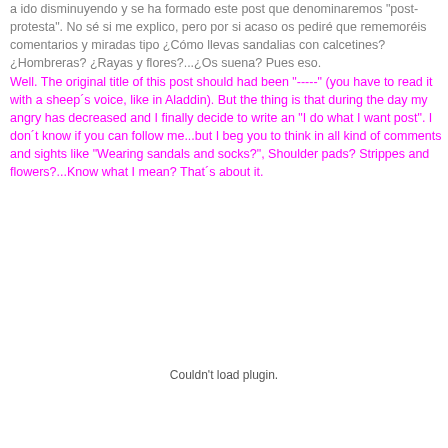a ido disminuyendo y se ha formado este post que denominaremos "post-protesta". No sé si me explico, pero por si acaso os pediré que rememoréis comentarios y miradas tipo ¿Cómo llevas sandalias con calcetines? ¿Hombreras? ¿Rayas y flores?...¿Os suena? Pues eso.
Well. The original title of this post should had been "-----" (you have to read it with a sheep´s voice, like in Aladdin). But the thing is that during the day my angry has decreased and I finally decide to write an "I do what I want post". I don´t know if you can follow me...but I beg you to think in all kind of comments and sights like "Wearing sandals and socks?", Shoulder pads? Strippes and flowers?...Know what I mean? That´s about it.
[Figure (other): Couldn't load plugin. Plugin placeholder area in lower half of page.]